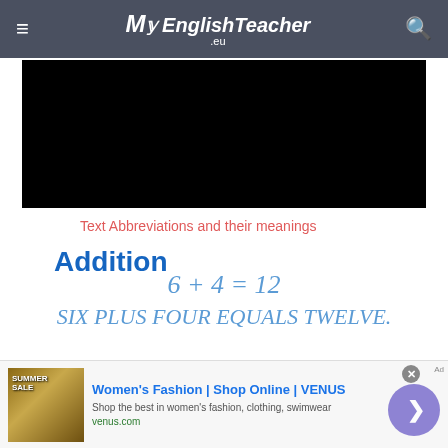MyEnglishTeacher.eu
[Figure (other): Black video thumbnail area]
Text Abbreviations and their meanings
Addition
This type of calculation is called addition, which is when you
[Figure (other): Advertisement banner: Women's Fashion | Shop Online | VENUS. Shop the best in women's fashion, clothing, swimwear. venus.com]